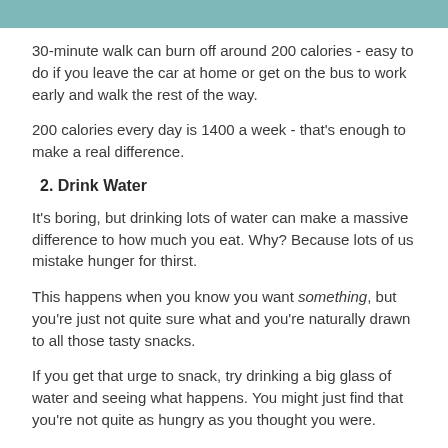30-minute walk can burn off around 200 calories - easy to do if you leave the car at home or get on the bus to work early and walk the rest of the way.
200 calories every day is 1400 a week - that's enough to make a real difference.
2. Drink Water
It's boring, but drinking lots of water can make a massive difference to how much you eat. Why? Because lots of us mistake hunger for thirst.
This happens when you know you want something, but you're just not quite sure what and you're naturally drawn to all those tasty snacks.
If you get that urge to snack, try drinking a big glass of water and seeing what happens. You might just find that you're not quite as hungry as you thought you were.